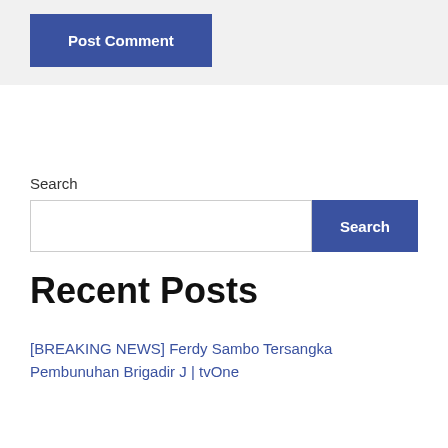Post Comment
Search
Recent Posts
[BREAKING NEWS] Ferdy Sambo Tersangka Pembunuhan Brigadir J | tvOne